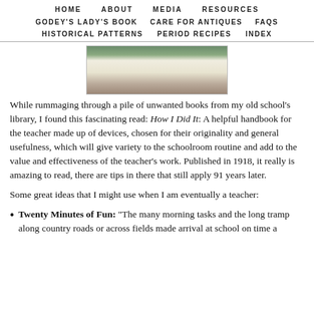HOME   ABOUT   MEDIA   RESOURCES
GODEY'S LADY'S BOOK   CARE FOR ANTIQUES   FAQS
HISTORICAL PATTERNS   PERIOD RECIPES   INDEX
[Figure (photo): Photo of an old book open, showing pages, with green cover visible, placed on a patterned surface]
While rummaging through a pile of unwanted books from my old school's library, I found this fascinating read: How I Did It: A helpful handbook for the teacher made up of devices, chosen for their originality and general usefulness, which will give variety to the schoolroom routine and add to the value and effectiveness of the teacher's work. Published in 1918, it really is amazing to read, there are tips in there that still apply 91 years later.
Some great ideas that I might use when I am eventually a teacher:
Twenty Minutes of Fun: "The many morning tasks and the long tramp along country roads or across fields made arrival at school on time a